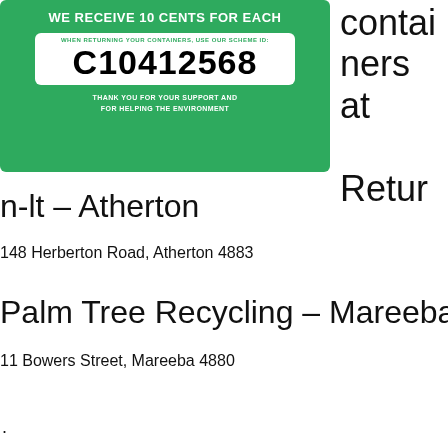[Figure (infographic): Green container deposit scheme card showing 'WE RECEIVE 10 CENTS FOR EACH', scheme ID C10412568, and thank you message]
containers at Retur
n-lt – Atherton
148 Herberton Road, Atherton 4883
Palm Tree Recycling – Mareeba
11 Bowers Street, Mareeba 4880
.